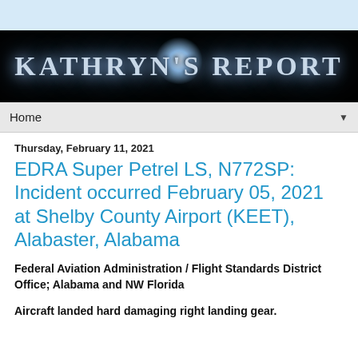[Figure (illustration): Kathryn's Report banner with glowing text on black background]
Home ▼
Thursday, February 11, 2021
EDRA Super Petrel LS, N772SP: Incident occurred February 05, 2021 at Shelby County Airport (KEET), Alabaster, Alabama
Federal Aviation Administration / Flight Standards District Office; Alabama and NW Florida
Aircraft landed hard damaging right landing gear.